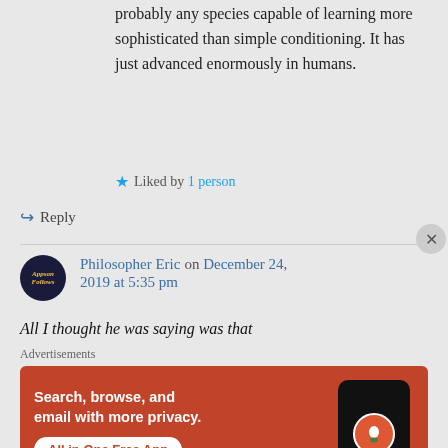probably any species capable of learning more sophisticated than simple conditioning. It has just advanced enormously in humans.
Liked by 1 person
Reply
Philosopher Eric on December 24, 2019 at 5:35 pm
All I thought he was saying was that
Advertisements
[Figure (infographic): DuckDuckGo advertisement banner: Search, browse, and email with more privacy. All in One Free App. Shows a smartphone with DuckDuckGo logo.]